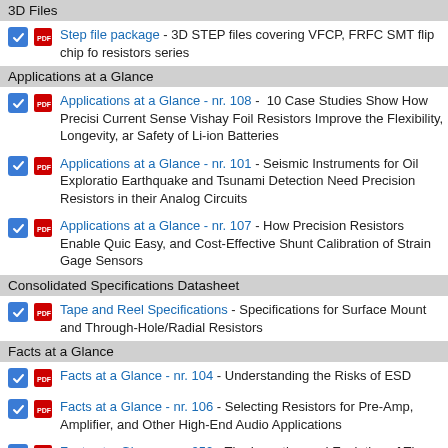3D Files
Step file package - 3D STEP files covering VFCP, FRFC SMT flip chip fo resistors series
Applications at a Glance
Applications at a Glance - nr. 108 - 10 Case Studies Show How Precision Current Sense Vishay Foil Resistors Improve the Flexibility, Longevity, and Safety of Li-ion Batteries
Applications at a Glance - nr. 101 - Seismic Instruments for Oil Exploration, Earthquake and Tsunami Detection Need Precision Resistors in their Analog Circuits
Applications at a Glance - nr. 107 - How Precision Resistors Enable Quick, Easy, and Cost-Effective Shunt Calibration of Strain Gage Sensors
Consolidated Specifications Datasheet
Tape and Reel Specifications - Specifications for Surface Mount and Through-Hole/Radial Resistors
Facts at a Glance
Facts at a Glance - nr. 104 - Understanding the Risks of ESD
Facts at a Glance - nr. 106 - Selecting Resistors for Pre-Amp, Amplifier, and Other High-End Audio Applications
Facts at a Glance - nr. 050 - The Invention and Evolution of The World's Most Precise Resistor, The Legacy of Dr. Felix Zandman
Facts at a Glance - nr. 102 - Precision Centers for Small Prototype Runs Product Samples
Facts at a Glance - nr. 103 - Ultra-High-Precision Resistors to be used fo...